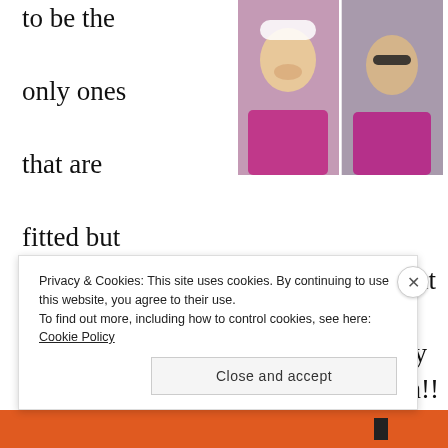to be the only ones that are fitted but
[Figure (photo): Two women smiling outdoors in athletic wear; one wearing a white cap, the other wearing sunglasses, both in pink/magenta tops]
not skintight, and they come in a great variety of cuts and colors. Also, for my short ladies, it can be super tricky to find tanks in an appropriate length!! Hip length usually = a cute mini-dress. Athleta to the rescue! Just be sure to size down–I wear an XXS here vs. a 4/6 at Lulu. Unfortunately my number one favorite tank I can't seem to find this season. but the Surge Tank seems
Privacy & Cookies: This site uses cookies. By continuing to use this website, you agree to their use.
To find out more, including how to control cookies, see here: Cookie Policy
Close and accept